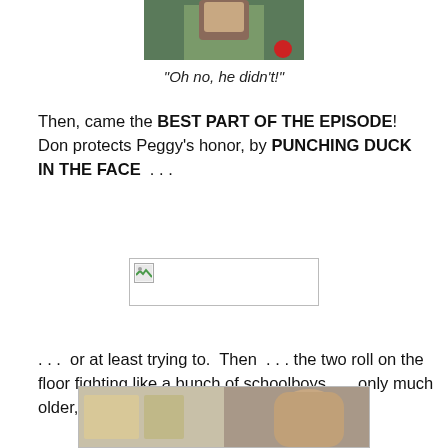[Figure (photo): Partial photo of a person at the top of the page]
“Oh no, he didn’t!”
Then, came the BEST PART OF THE EPISODE!  Don protects Peggy’s honor, by PUNCHING DUCK IN THE FACE  . . .
[Figure (photo): Broken/missing image placeholder]
. . .  or at least trying to.  Then  . . . the two roll on the floor fighting like a bunch of schoolboys . . . only much older, and WAY more liquored up . . .
[Figure (photo): Partial photo at the bottom of the page showing what appears to be a room interior and a person]